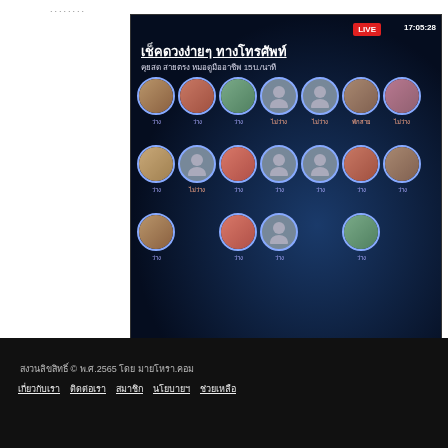........
[Figure (screenshot): Live stream screenshot showing Thai astrology phone consultation service with multiple astrologer avatars in a dark starry background. Title: เช็คดวงง่ายๆ ทางโทรศัพท์. Subtitle: คุยสด สายตรง หมอดูมืออาชีพ 15บ./นาที. LIVE badge with timestamp 17:05:28. Multiple rows of astrologers with availability statuses (ว่าง = available, ไม่ว่าง = unavailable, พักสาย = on break).]
สงวนลิขสิทธิ์ © พ.ศ.2565 โดย มายโหรา.คอม
เกี่ยวกับเรา  ติดต่อเรา  สมาชิก  นโยบายฯ  ช่วยเหลือ